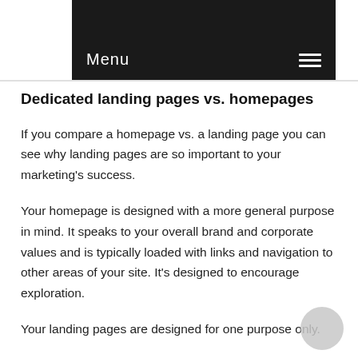[Figure (screenshot): Dark navigation bar with 'Menu' text on the left and a hamburger icon on the right, on a black/dark background]
Dedicated landing pages vs. homepages
If you compare a homepage vs. a landing page you can see why landing pages are so important to your marketing's success.
Your homepage is designed with a more general purpose in mind. It speaks to your overall brand and corporate values and is typically loaded with links and navigation to other areas of your site. It's designed to encourage exploration.
Your landing pages are designed for one purpose only.